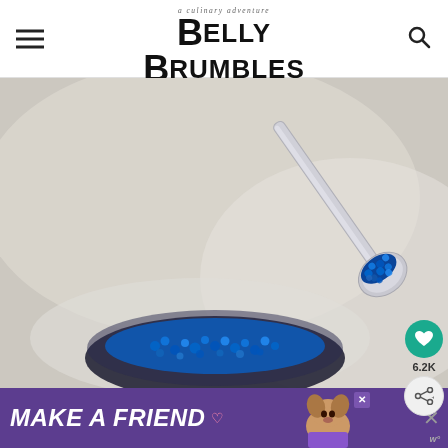a culinary adventure BELLY RUMBLES from Sara McCleary
[Figure (photo): Close-up photo of a silver spoon holding shiny blue caviar pearls above a small plate/bowl filled with blue caviar, on a white marble surface]
[Figure (infographic): Social sharing sidebar with teal heart icon (6.2K likes) and a share button]
[Figure (screenshot): Purple advertisement banner reading MAKE A FRIEND with a dog image]